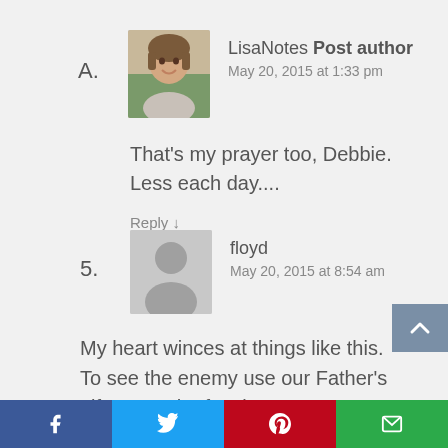A.
[Figure (photo): Profile photo of LisaNotes, a woman with short brown hair smiling]
LisaNotes Post author
May 20, 2015 at 1:33 pm
That’s my prayer too, Debbie. Less each day....
Reply ↓
5.
[Figure (illustration): Generic gray avatar silhouette for floyd]
floyd
May 20, 2015 at 8:54 am
My heart winces at things like this. To see the enemy use our Father’s gifts to each of us in our senses deeply saddens me and reminds me of the fallen world in which we